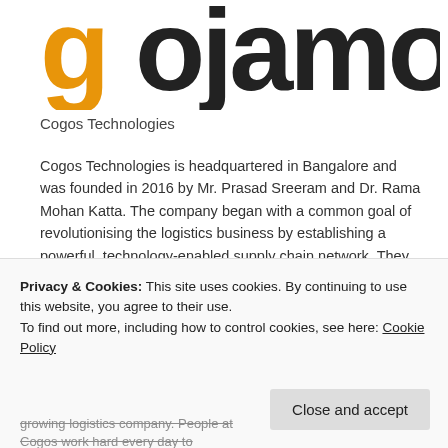[Figure (logo): Cogos Technologies logo — partial view showing orange 'g' and black letter forms]
Cogos Technologies
Cogos Technologies is headquartered in Bangalore and was founded in 2016 by Mr. Prasad Sreeram and Dr. Rama Mohan Katta. The company began with a common goal of revolutionising the logistics business by establishing a powerful, technology-enabled supply chain network. They provide a one-stop shop for intra-city transportation at Cogos. They have established a robust technology background with intelligently integrated advanced sensors, IOT, AI/ML based Analytics, and third party applications to
Privacy & Cookies: This site uses cookies. By continuing to use this website, you agree to their use.
To find out more, including how to control cookies, see here: Cookie Policy
Close and accept
growing logistics company. People at Cogos work hard every day to